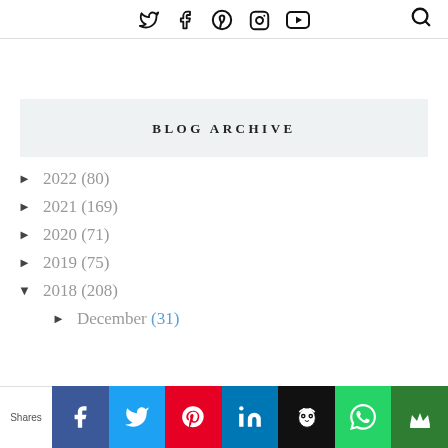Social media icons and search icon in header
BLOG ARCHIVE
► 2022 (80)
► 2021 (169)
► 2020 (71)
► 2019 (75)
▼ 2018 (208)
► December (31)
Shares | Facebook | Twitter | Pinterest | LinkedIn | Hootsuite | WhatsApp | Crown